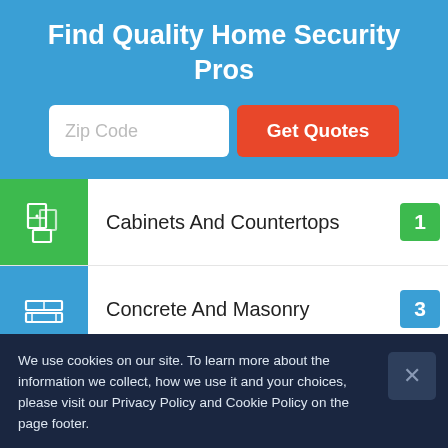Find Quality Home Security Pros
[Figure (screenshot): Zip Code input field and Get Quotes button]
Cabinets And Countertops — 1
Concrete And Masonry — 3
Doors — 3
We use cookies on our site. To learn more about the information we collect, how we use it and your choices, please visit our Privacy Policy and Cookie Policy on the page footer.